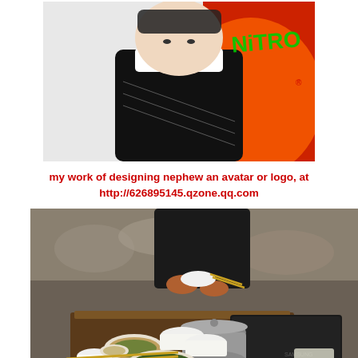[Figure (illustration): A digitally stylized/illustrated portrait of a young person wearing a black vest over a white shirt, with a red and graphic background featuring partial text 'NITRO' on the right side.]
my work of designing nephew an avatar or logo, at http://626895145.qzone.qq.com
[Figure (photo): A photograph of a small wooden table outdoors with several dishes of Chinese food (stir-fried vegetables, rice bowls, small side dishes), chopsticks, a large metal pot with lid, and a closed black laptop with a remote control. A person dressed in black stands behind the table holding a bowl and chopsticks. Background shows rocky ground.]